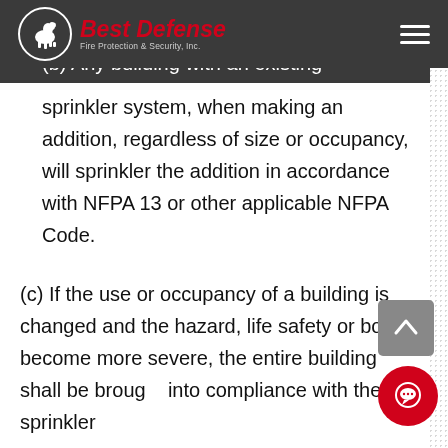Best Defense Fire Protection & Security, Inc.
(b) Any building with an existing sprinkler system, when making an addition, regardless of size or occupancy, will sprinkler the addition in accordance with NFPA 13 or other applicable NFPA Code.
(c) If the use or occupancy of a building is changed and the hazard, life safety or both become more severe, the entire building shall be brought into compliance with the sprinkler